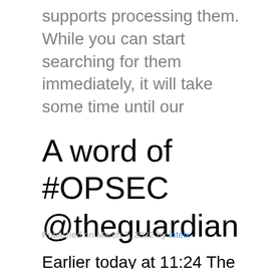supports processing them. While you can start searching for them immediately, it will take some time until our
A word of #OPSEC @theguardian
Published on March 7, 2022 by intelx
Earlier today at 11:24 The